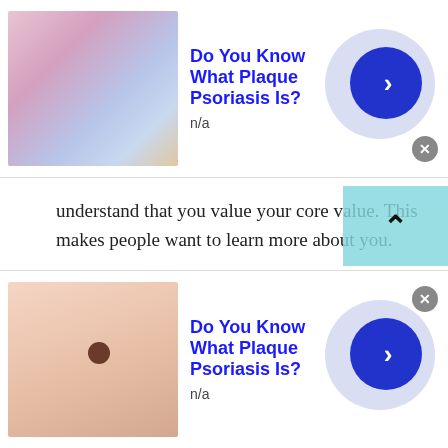[Figure (screenshot): Top advertisement banner: thumbnail image of colorful skin, title 'Do You Know What Plaque Psoriasis Is?', subtitle 'n/a', blue circle arrow button]
understand that you value your core value. This makes people want to learn more about you.
2. Encourage diversity:
Remember that, you are chatting with strangers online. These strangers are not confined to a particular state or country. You can chat with the people of Poland through this application. Now keep that in mind, that Poland is one of the most
[Figure (screenshot): Bottom advertisement banner: thumbnail image of skin with mole, title 'Do You Know What Plaque Psoriasis Is?', subtitle 'n/a', blue circle arrow button]